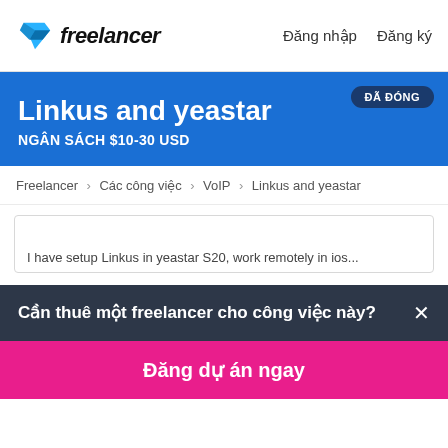Freelancer  Đăng nhập  Đăng ký
Linkus and yeastar
NGÂN SÁCH $10-30 USD
ĐÃ ĐÓNG
Freelancer › Các công việc › VoIP › Linkus and yeastar
I have setup Linkus in yeastar S20, work remotely in ios...
Cần thuê một freelancer cho công việc này? ×
Đăng dự án ngay